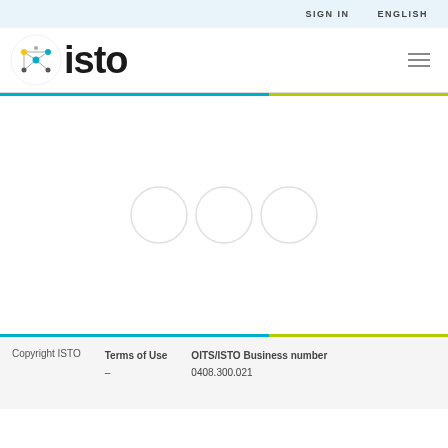SIGN IN   ENGLISH
[Figure (logo): ISTO logo with colorful network/node icon on left, bold 'isto' text on right]
[Figure (other): Three light gray circles arranged horizontally, representing a loading state]
Copyright ISTO   Terms of Use –   OITS/ISTO Business number 0408.300.021